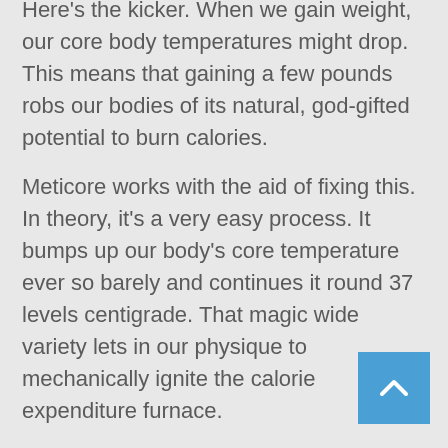Here's the kicker. When we gain weight, our core body temperatures might drop. This means that gaining a few pounds robs our bodies of its natural, god-gifted potential to burn calories.
Meticore works with the aid of fixing this. In theory, it's a very easy process. It bumps up our body's core temperature ever so barely and continues it round 37 levels centigrade. That magic wide variety lets in our physique to mechanically ignite the calorie expenditure furnace.
Now, if you preserve your calorific consumption and tweak your macros a little, it creates the ideal placing for your physique to faucet into all these saved fats and water. That's due to the fact an amplify of a single diploma C of core physique temperature re-programs your physique to make use of 13-13% greater